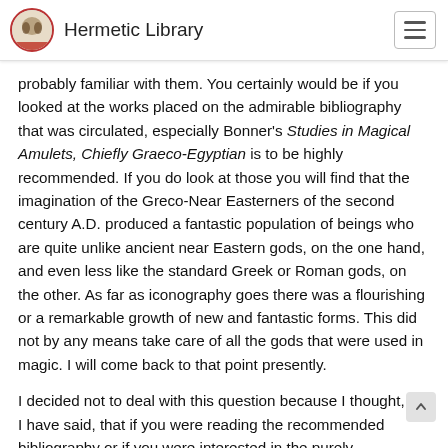Hermetic Library
probably familiar with them. You certainly would be if you looked at the works placed on the admirable bibliography that was circulated, especially Bonner's Studies in Magical Amulets, Chiefly Graeco-Egyptian is to be highly recommended. If you do look at those you will find that the imagination of the Greco-Near Easterners of the second century A.D. produced a fantastic population of beings who are quite unlike ancient near Eastern gods, on the one hand, and even less like the standard Greek or Roman gods, on the other. As far as iconography goes there was a flourishing or a remarkable growth of new and fantastic forms. This did not by any means take care of all the gods that were used in magic. I will come back to that point presently.
I decided not to deal with this question because I thought, as I have said, that if you were reading the recommended bibliography or if you were interested in the purely iconagraphic side of magical invention, you could easily do that for yourselves. A friend of mine who gave up church history for history of art told me, “I used to have to read the texts but now I just have to look at the pictures.” For iconagraphic studies you could do that; one picture is worth a thousand words. Besides that, one picture is worth a thousand words. (cut off)